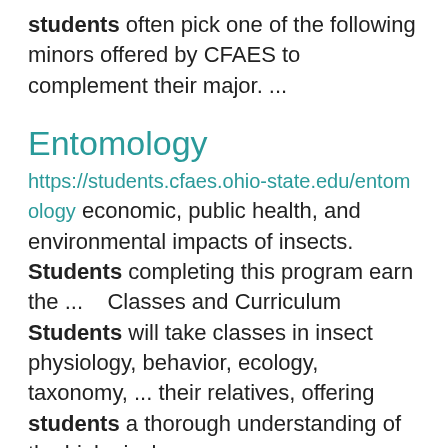students often pick one of the following minors offered by CFAES to complement their major. ...
Entomology
https://students.cfaes.ohio-state.edu/entomology economic, public health, and environmental impacts of insects. Students completing this program earn the ...    Classes and Curriculum Students will take classes in insect physiology, behavior, ecology, taxonomy, ... their relatives, offering students a thorough understanding of the biological